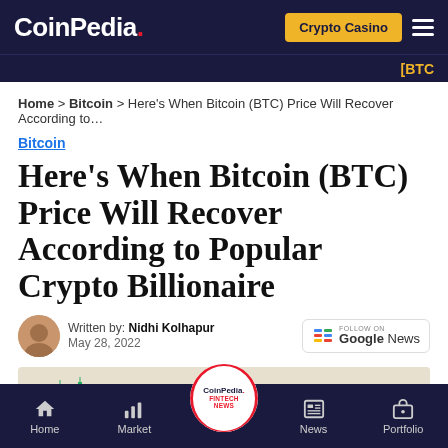CoinPedia. | Crypto Casino | Menu
[BTC
Home > Bitcoin > Here's When Bitcoin (BTC) Price Will Recover According to...
Bitcoin
Here's When Bitcoin (BTC) Price Will Recover According to Popular Crypto Billionaire
Written by: Nidhi Kolhapur
May 28, 2022
[Figure (photo): Bitcoin gold coin with trading chart candlesticks in background, CoinPedia Fintech News watermark overlay]
Home | Market | CoinPedia Fintech News | News | Portfolio